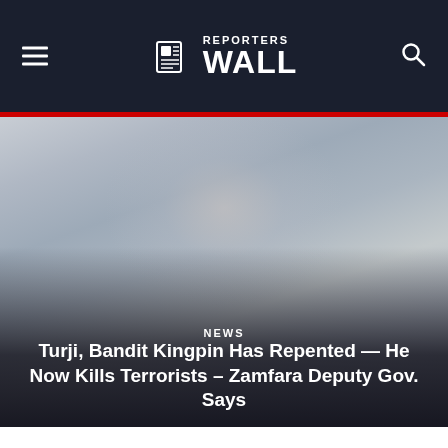REPORTERS WALL
[Figure (photo): Faded/washed-out close-up photograph of a person's face, used as hero background image]
NEWS
Turji, Bandit Kingpin Has Repented — He Now Kills Terrorists – Zamfara Deputy Gov. Says